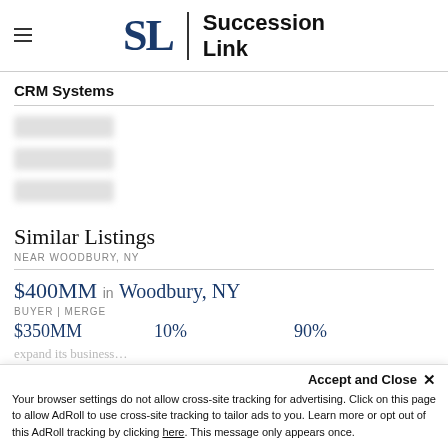[Figure (logo): Succession Link logo with hamburger menu icon, large SL monogram and vertical bar divider]
CRM Systems
[blurred/redacted list items]
Similar Listings
NEAR WOODBURY, NY
$400MM in Woodbury, NY
BUYER | MERGE
$350MM   10%   90%
Accept and Close ✕
Your browser settings do not allow cross-site tracking for advertising. Click on this page to allow AdRoll to use cross-site tracking to tailor ads to you. Learn more or opt out of this AdRoll tracking by clicking here. This message only appears once.